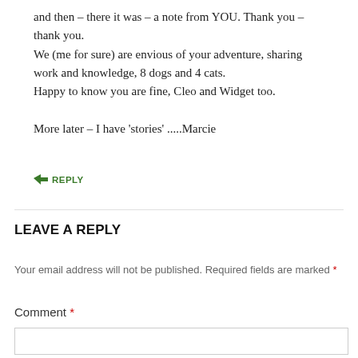and then – there it was – a note from YOU. Thank you – thank you.
We (me for sure) are envious of your adventure, sharing work and knowledge, 8 dogs and 4 cats.
Happy to know you are fine, Cleo and Widget too.

More later – I have 'stories' .....Marcie
↳ REPLY
LEAVE A REPLY
Your email address will not be published. Required fields are marked *
Comment *